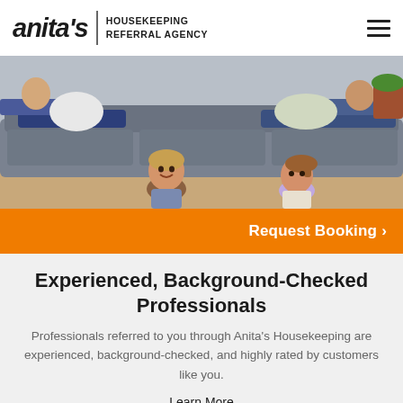anita's | HOUSEKEEPING REFERRAL AGENCY
[Figure (photo): Family with two young children relaxing on a grey sofa, viewed from the front. Two adults lounging behind and two kids playing on the floor in the foreground.]
Request Booking >
Experienced, Background-Checked Professionals
Professionals referred to you through Anita's Housekeeping are experienced, background-checked, and highly rated by customers like you.
Learn More